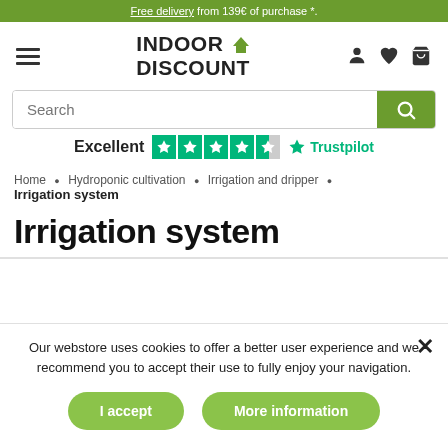Free delivery from 139€ of purchase *.
[Figure (logo): Indoor Discount logo with hamburger menu, person, heart, and cart icons]
[Figure (screenshot): Search bar with green search button]
[Figure (infographic): Trustpilot rating: Excellent with 4.5 stars and Trustpilot logo]
Home • Hydroponic cultivation • Irrigation and dripper • Irrigation system
Irrigation system
Our webstore uses cookies to offer a better user experience and we recommend you to accept their use to fully enjoy your navigation.